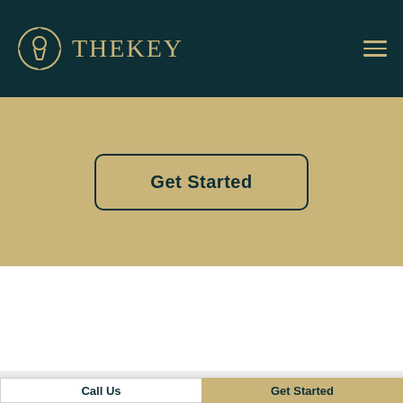[Figure (logo): TheKey logo: keyhole icon in a circle with crosshairs, followed by the text 'TheKey' in gold capital letters on a dark teal background header with a hamburger menu icon on the right]
Get Started
Call Us
Get Started